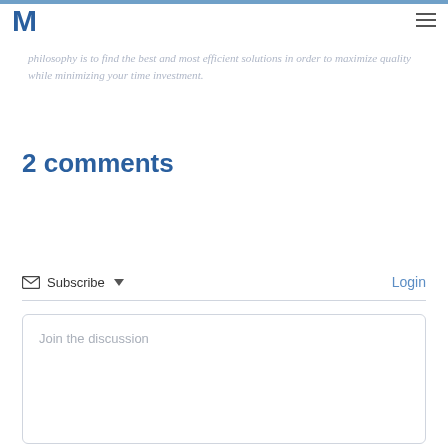M
philosophy is to find the best and most efficient solutions in order to maximize quality while minimizing your time investment.
2 comments
Subscribe  Login
Join the discussion